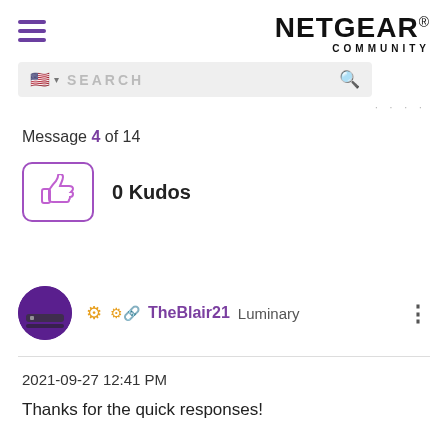NETGEAR COMMUNITY
SEARCH
Message 4 of 14
0 Kudos
TheBlair21 Luminary
2021-09-27 12:41 PM
Thanks for the quick responses!